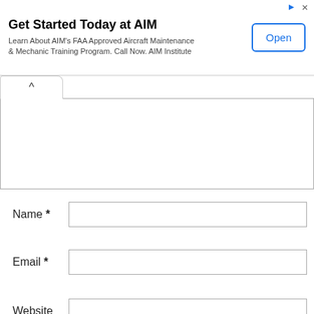[Figure (other): Advertisement banner for AIM Institute with title 'Get Started Today at AIM', description text, and an 'Open' button]
Name *
Email *
Website
Save my name, email, and website in this browser for the next time I comment.